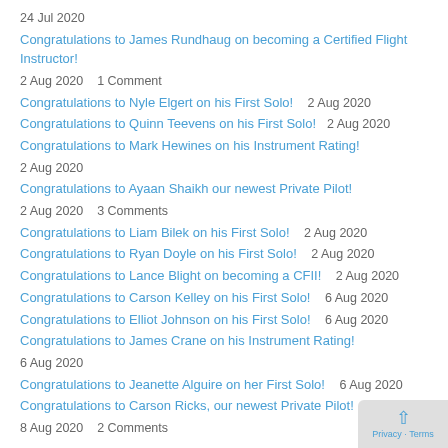24 Jul 2020
Congratulations to James Rundhaug on becoming a Certified Flight Instructor!
2 Aug 2020    1 Comment
Congratulations to Nyle Elgert on his First Solo!    2 Aug 2020
Congratulations to Quinn Teevens on his First Solo!    2 Aug 2020
Congratulations to Mark Hewines on his Instrument Rating!
2 Aug 2020
Congratulations to Ayaan Shaikh our newest Private Pilot!
2 Aug 2020    3 Comments
Congratulations to Liam Bilek on his First Solo!    2 Aug 2020
Congratulations to Ryan Doyle on his First Solo!    2 Aug 2020
Congratulations to Lance Blight on becoming a CFII!    2 Aug 2020
Congratulations to Carson Kelley on his First Solo!    6 Aug 2020
Congratulations to Elliot Johnson on his First Solo!    6 Aug 2020
Congratulations to James Crane on his Instrument Rating!
6 Aug 2020
Congratulations to Jeanette Alguire on her First Solo!    6 Aug 2020
Congratulations to Carson Ricks, our newest Private Pilot!
8 Aug 2020    2 Comments